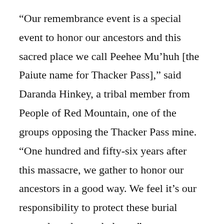“Our remembrance event is a special event to honor our ancestors and this sacred place we call Peehee Mu’huh [the Paiute name for Thacker Pass],” said Daranda Hinkey, a tribal member from People of Red Mountain, one of the groups opposing the Thacker Pass mine. “One hundred and fifty-six years after this massacre, we gather to honor our ancestors in a good way. We feel it’s our responsibility to protect these burial grounds and sacred places.”
The 1865 massacre, part of what historian Gregory Michno describes as